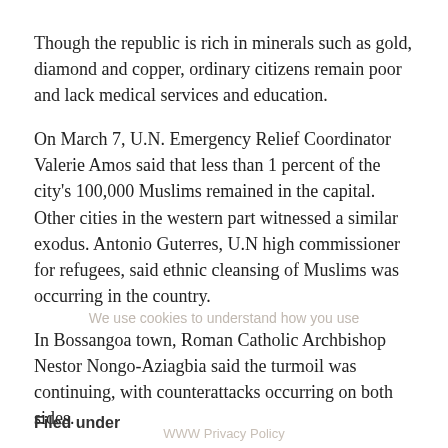Though the republic is rich in minerals such as gold, diamond and copper, ordinary citizens remain poor and lack medical services and education.
On March 7, U.N. Emergency Relief Coordinator Valerie Amos said that less than 1 percent of the city's 100,000 Muslims remained in the capital. Other cities in the western part witnessed a similar exodus. Antonio Guterres, U.N high commissioner for refugees, said ethnic cleansing of Muslims was occurring in the country.
In Bossangoa town, Roman Catholic Archbishop Nestor Nongo-Aziagbia said the turmoil was continuing, with counterattacks occurring on both sides.
“It is true Muslims are fleeing,” he said. “But many more are sheltering in churches.”
Filed under